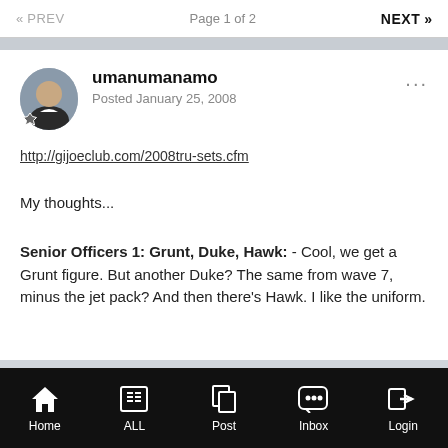« PREV   Page 1 of 2   NEXT »
umanumanamo
Posted January 25, 2008
http://gijoeclub.com/2008tru-sets.cfm
My thoughts...
Senior Officers 1: Grunt, Duke, Hawk: - Cool, we get a Grunt figure. But another Duke? The same from wave 7, minus the jet pack? And then there's Hawk. I like the uniform.
Home   ALL   Post   Inbox   Login